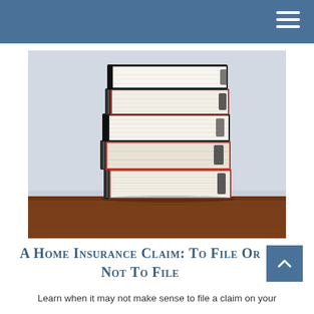[Figure (photo): A tall stack of red and black ring binders filled with papers, sitting on a wooden shelf against a light blue-grey wall.]
A Home Insurance Claim: To File Or Not To File
Learn when it may not make sense to file a claim on your